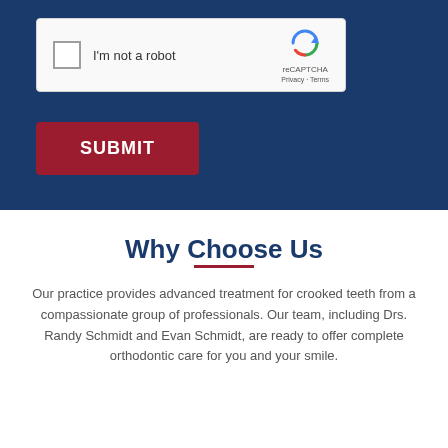[Figure (screenshot): reCAPTCHA widget with checkbox labeled 'I'm not a robot' and reCAPTCHA logo with Privacy and Terms links on dark blue background]
[Figure (screenshot): Dark red SUBMIT button on dark blue background]
Why Choose Us
Our practice provides advanced treatment for crooked teeth from a compassionate group of professionals. Our team, including Drs. Randy Schmidt and Evan Schmidt, are ready to offer complete orthodontic care for you and your smile.